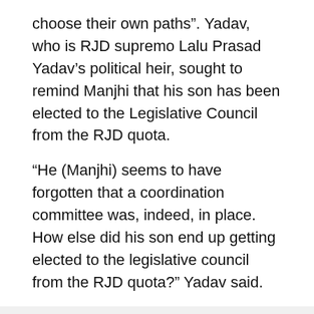choose their own paths”. Yadav, who is RJD supremo Lalu Prasad Yadav’s political heir, sought to remind Manjhi that his son has been elected to the Legislative Council from the RJD quota.
“He (Manjhi) seems to have forgotten that a coordination committee was, indeed, in place. How else did his son end up getting elected to the legislative council from the RJD quota?” Yadav said.
ADVERTISEMENT
Earlier on Monday, Manjhi had demanded the setting up of a coordination committee that will have a representative from all the five constituents of the grand alliance. He said that the committee should be